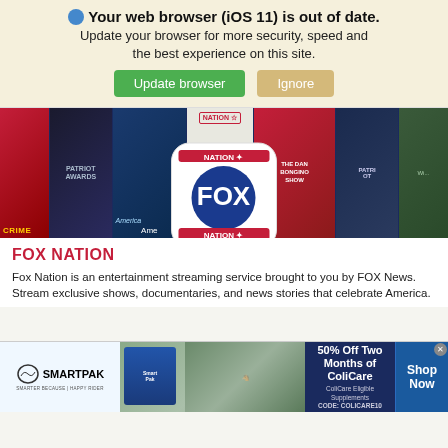Your web browser (iOS 11) is out of date. Update your browser for more security, speed and the best experience on this site. Update browser | Ignore
[Figure (screenshot): Fox Nation streaming service hero banner showing multiple show thumbnails including Crime, Patriot Awards, America, Nation, The Dan Bongino Show, Patriot, and a wildlife show. The Fox Nation logo (blue circle with FOX and NATION text and red stripes) is overlaid in the center-bottom area.]
FOX NATION
Fox Nation is an entertainment streaming service brought to you by FOX News. Stream exclusive shows, documentaries, and news stories that celebrate America.
[Figure (photo): SmartPak advertisement banner: SmartPak logo on left, product image and horse rider in center, '50% Off Two Months of ColiCare - ColiCare Eligible Supplements CODE: COLICARE10' text on dark blue background, 'Shop Now' button on right.]